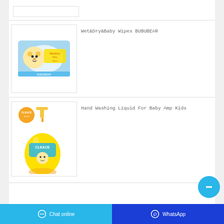[Figure (photo): Partial product image (top, cropped) - top of page stub]
[Figure (photo): Wet&Dry&Baby Wipes BUBUBEAR product package - blue baby wipes pack with cartoon bear character]
Wet&Dry&Baby Wipes BUBUBEAR
[Figure (photo): Hand Washing Liquid For Baby Amp Kids - CLEACE brand yellow pump bottle hand wash]
Hand Washing Liquid For Baby Amp Kids
Chat online | WhatsApp